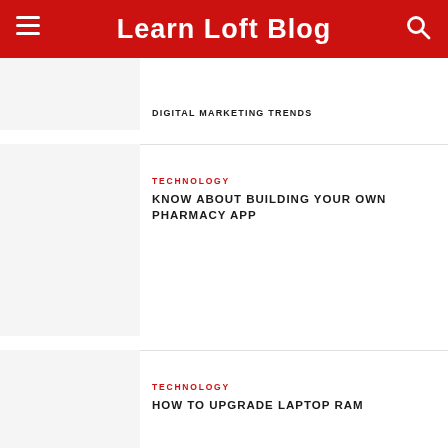Learn Loft Blog
DIGITAL MARKETING TRENDS
TECHNOLOGY
KNOW ABOUT BUILDING YOUR OWN PHARMACY APP
TECHNOLOGY
HOW TO UPGRADE LAPTOP RAM